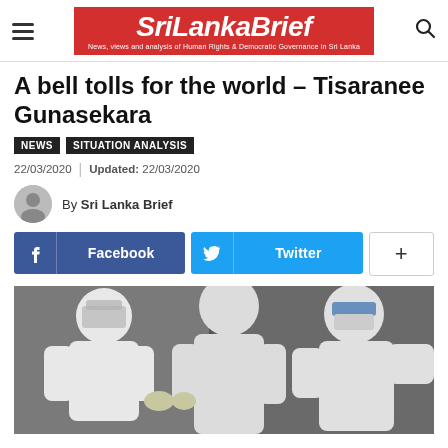SriLankaBrief — News, views and analysis of Human Rights & Democratic Governance in Sri Lanka
A bell tolls for the world – Tisaranee Gunasekara
NEWS  SITUATION ANALYSIS
22/03/2020  |  Updated: 22/03/2020
By Sri Lanka Brief
Facebook  Twitter  +
[Figure (photo): Three people in full white protective hazmat suits and face masks/shields in an indoor setting]